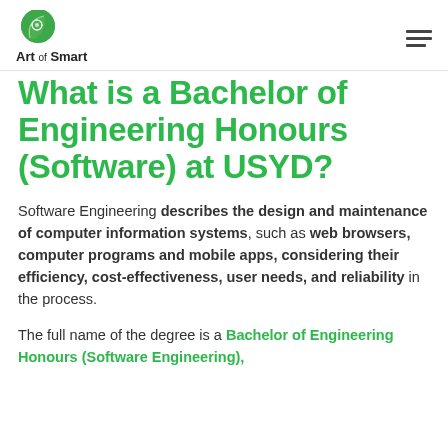Art of Smart
What is a Bachelor of Engineering Honours (Software) at USYD?
Software Engineering describes the design and maintenance of computer information systems, such as web browsers, computer programs and mobile apps, considering their efficiency, cost-effectiveness, user needs, and reliability in the process.
The full name of the degree is a Bachelor of Engineering Honours (Software Engineering),